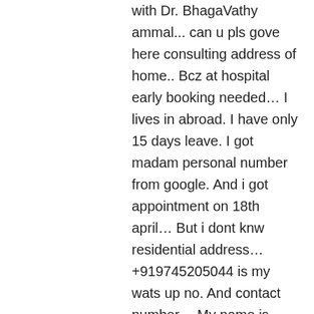with Dr. BhagaVathy ammal... can u pls gove here consulting address of home.. Bcz at hospital early booking needed… I lives in abroad. I have only 15 days leave. I got madam personal number from google. And i got appointment on 18th april… But i dont knw residential address… +919745205044 is my wats up no. And contact number… My name is nisha… Pls contact me soon… I need ur help
Like
Sunisha Mukundan on April 18, 2018 at 3:11 am
Veena chechi,
Njan vishu sadhya undaki, ellam chechide recipes follow cheydittu undakiya. Ellam